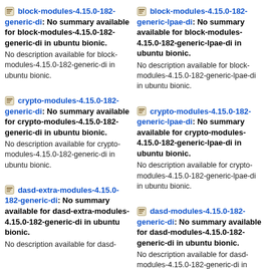block-modules-4.15.0-182-generic-di: No summary available for block-modules-4.15.0-182-generic-di in ubuntu bionic.
No description available for block-modules-4.15.0-182-generic-di in ubuntu bionic.
block-modules-4.15.0-182-generic-lpae-di: No summary available for block-modules-4.15.0-182-generic-lpae-di in ubuntu bionic.
No description available for block-modules-4.15.0-182-generic-lpae-di in ubuntu bionic.
crypto-modules-4.15.0-182-generic-di: No summary available for crypto-modules-4.15.0-182-generic-di in ubuntu bionic.
No description available for crypto-modules-4.15.0-182-generic-di in ubuntu bionic.
crypto-modules-4.15.0-182-generic-lpae-di: No summary available for crypto-modules-4.15.0-182-generic-lpae-di in ubuntu bionic.
No description available for crypto-modules-4.15.0-182-generic-lpae-di in ubuntu bionic.
dasd-extra-modules-4.15.0-182-generic-di: No summary available for dasd-extra-modules-4.15.0-182-generic-di in ubuntu bionic.
No description available for dasd-
dasd-modules-4.15.0-182-generic-di: No summary available for dasd-modules-4.15.0-182-generic-di in ubuntu bionic.
No description available for dasd-modules-4.15.0-182-generic-di in